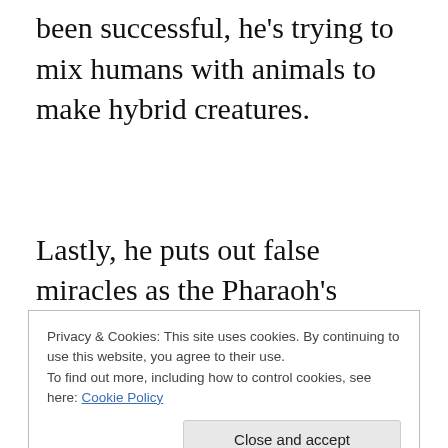been successful, he's trying to mix humans with animals to make hybrid creatures.
Lastly, he puts out false miracles as the Pharaoh's magicians who were able to replicate the first four of Moses' miracles. These false miracles were used to keep
Privacy & Cookies: This site uses cookies. By continuing to use this website, you agree to their use.
To find out more, including how to control cookies, see here: Cookie Policy
those of Pharaoh's time. If Pharaoh's